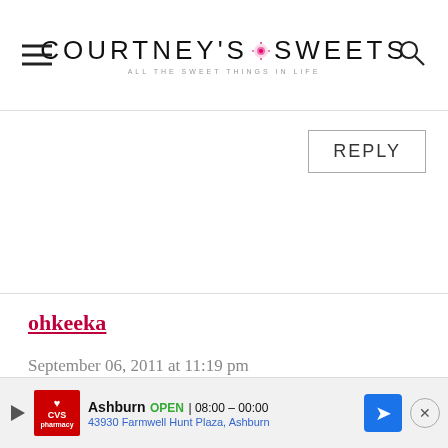COURTNEY'S SWEETS — ALL THE SWEET THINGS IN LIFE
REPLY
ohkeeka
September 06, 2011 at 11:19 pm
These look fabulous! I'm starting to crave pumpkin and apples too now that it's almost fall. 🙂
[Figure (screenshot): CVS Pharmacy advertisement bar at the bottom showing location in Ashburn, open hours 08:00–00:00, address 43930 Farmwell Hunt Plaza, Ashburn, with navigation icon]